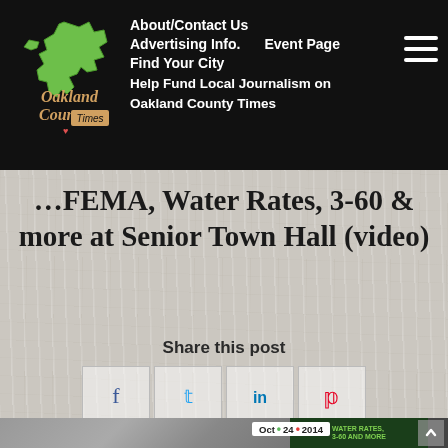About/Contact Us | Advertising Info. | Event Page | Find Your City | Help Fund Local Journalism on Oakland County Times
…FEMA, Water Rates, 3-60 & more at Senior Town Hall (video)
Share this post
[Figure (screenshot): Bottom strip showing a man speaking at a podium at a town hall event, partially overlaid with a green overlay showing date Oct 24 2014 and text Water Rates, 3-60 AND MORE]